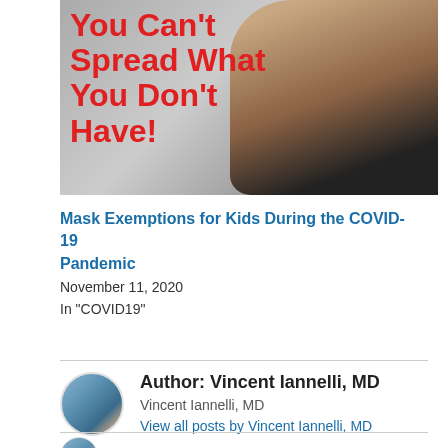[Figure (photo): Photo of a person holding a mask with bold red text overlay reading 'You Can't Spread What You Don't Have!']
Mask Exemptions for Kids During the COVID-19 Pandemic
November 11, 2020
In "COVID19"
Author: Vincent Iannelli, MD
Vincent Iannelli, MD
View all posts by Vincent Iannelli, MD
Vincent Iannelli, MD / March 9, 2021 / Blog / Arthur